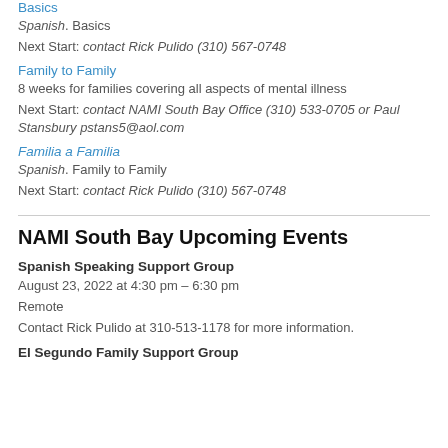Basics
Spanish. Basics
Next Start: contact Rick Pulido (310) 567-0748
Family to Family
8 weeks for families covering all aspects of mental illness
Next Start: contact NAMI South Bay Office (310) 533-0705 or Paul Stansbury pstans5@aol.com
Familia a Familia
Spanish. Family to Family
Next Start: contact Rick Pulido (310) 567-0748
NAMI South Bay Upcoming Events
Spanish Speaking Support Group
August 23, 2022 at 4:30 pm – 6:30 pm
Remote
Contact Rick Pulido at 310-513-1178 for more information.
El Segundo Family Support Group